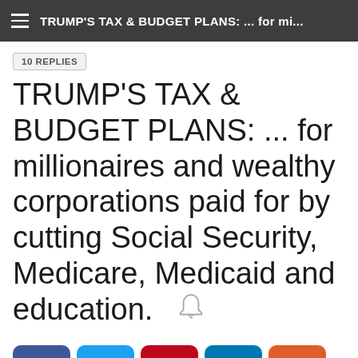TRUMP'S TAX & BUDGET PLANS: ... for mi...
10 REPLIES
TRUMP'S TAX & BUDGET PLANS: ... for millionaires and wealthy corporations paid for by cutting Social Security, Medicare, Medicaid and education.
[Figure (infographic): Social media share buttons: Facebook (blue), Twitter (light blue), Pinterest (red), LinkedIn (teal), Reddit (orange), and a copy/clipboard button (gray)]